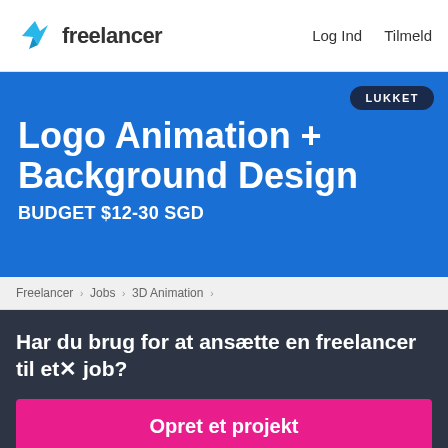freelancer  Log Ind  Tilmeld
Logo Animation + Background Design
BUDGET $12-30 SGD
LUKKET
Freelancer › Jobs › 3D Animation ›
Har du brug for at ansætte en freelancer til et job?
Opret et projekt